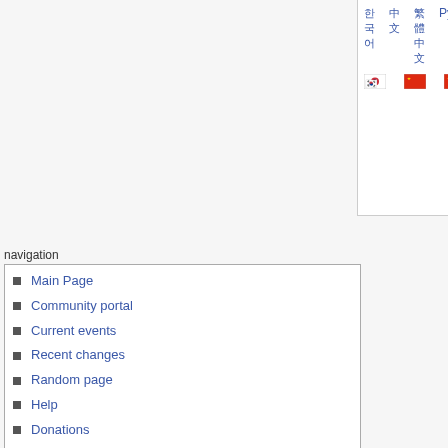[Figure (screenshot): Top panel showing language links with flags: Korean (한국어), Chinese Simplified (中文), Chinese Traditional (繁體中文), Russian (Русский), Nederlands, with corresponding flag icons below each.]
navigation
Main Page
Community portal
Current events
Recent changes
Random page
Help
Donations
Keyword Search
Create Account
search
toolbox
What links here
Related changes
Special pages
Printable version